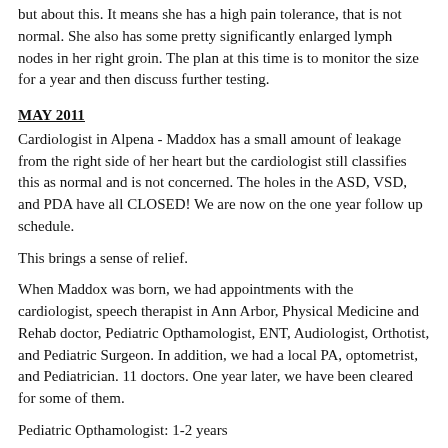but about this. It means she has a high pain tolerance, that is not normal. She also has some pretty significantly enlarged lymph nodes in her right groin. The plan at this time is to monitor the size for a year and then discuss further testing.
MAY 2011
Cardiologist in Alpena - Maddox has a small amount of leakage from the right side of her heart but the cardiologist still classifies this as normal and is not concerned. The holes in the ASD, VSD, and PDA have all CLOSED! We are now on the one year follow up schedule.
This brings a sense of relief.
When Maddox was born, we had appointments with the cardiologist, speech therapist in Ann Arbor, Physical Medicine and Rehab doctor, Pediatric Opthamologist, ENT, Audiologist, Orthotist, and Pediatric Surgeon. In addition, we had a local PA, optometrist, and Pediatrician. 11 doctors. One year later, we have been cleared for some of them.
Pediatric Opthamologist: 1-2 years
Physical Medicine and Rehab: 1 year